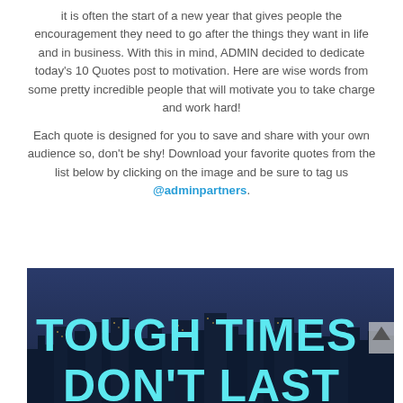it is often the start of a new year that gives people the encouragement they need to go after the things they want in life and in business. With this in mind, ADMIN decided to dedicate today's 10 Quotes post to motivation. Here are wise words from some pretty incredible people that will motivate you to take charge and work hard!
Each quote is designed for you to save and share with your own audience so, don't be shy! Download your favorite quotes from the list below by clicking on the image and be sure to tag us @adminpartners.
[Figure (photo): Dark city skyline background with large bold cyan/turquoise text reading 'TOUGH TIMES DON'T LAST']